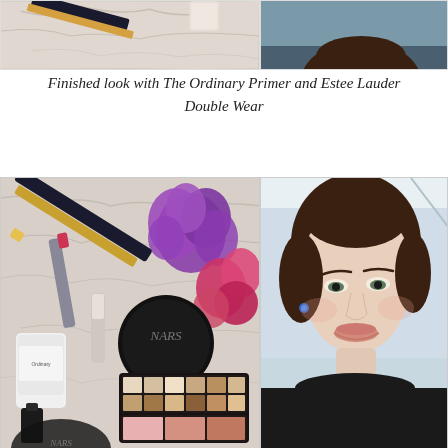[Figure (photo): Top portion of two side-by-side photos: left showing marble surface with beauty products, right showing a woman in grey top against teal background]
Finished look with The Ordinary Primer and Estee Lauder Double Wear
[Figure (photo): Two side-by-side photos: left showing makeup products on marble surface including YSL pen, lipstick, NARS compact, The Ordinary primer tube, eyeshadow palette with purple and pink flowers; right showing a smiling woman with brown hair pulled back, blue stud earrings, against a light background]